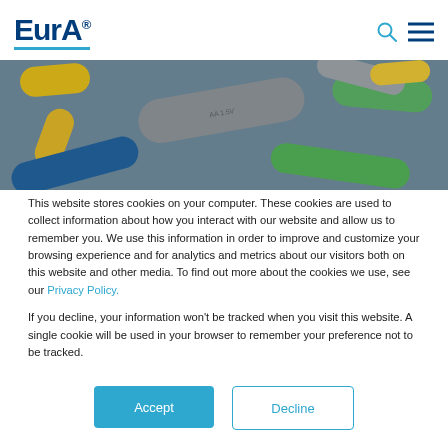[Figure (logo): EurA logo with registered trademark symbol and blue underline]
[Figure (photo): Overhead photo of various colorful batteries (yellow, green, blue, silver) scattered on a grey surface]
This website stores cookies on your computer. These cookies are used to collect information about how you interact with our website and allow us to remember you. We use this information in order to improve and customize your browsing experience and for analytics and metrics about our visitors both on this website and other media. To find out more about the cookies we use, see our Privacy Policy.
If you decline, your information won't be tracked when you visit this website. A single cookie will be used in your browser to remember your preference not to be tracked.